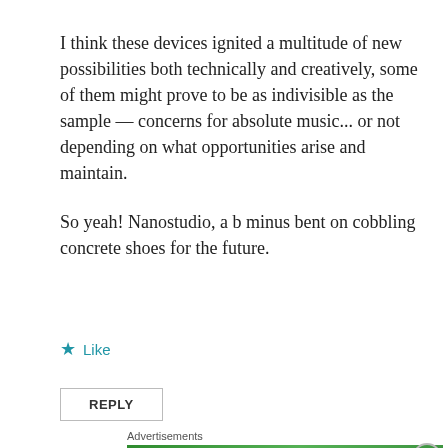I think these devices ignited a multitude of new possibilities both technically and creatively, some of them might prove to be as indivisible as the sample — concerns for absolute music... or not depending on what opportunities arise and maintain.
So yeah! Nanostudio, a b minus bent on cobbling concrete shoes for the future.
★ Like
REPLY
Advertisements
[Figure (screenshot): Jetpack advertisement banner on green background with circular icon, 'Jetpack' text, and 'Back up your site' button]
Advertisements
[Figure (screenshot): DuckDuckGo advertisement: orange background with text 'Search, browse, and email with more privacy. All in One Free App' and DuckDuckGo logo on dark right panel]